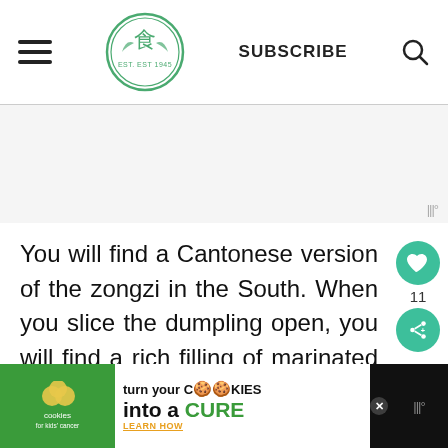SUBSCRIBE
[Figure (other): Gray advertisement placeholder area with a widget icon in the bottom right corner]
You will find a Cantonese version of the zongzi in the South. When you slice the dumpling open, you will find a rich filling of marinated meat, such as pork belly and duck meat, with other ingredients like green bean paste, mushrooms, dried scallops, and salted egg yolk.
[Figure (other): What's Next panel showing Crispy Chilli Beef Recipe... with a food thumbnail image]
[Figure (other): Bottom advertisement banner: cookies for kids cancer - turn your cookies into a CURE LEARN HOW]